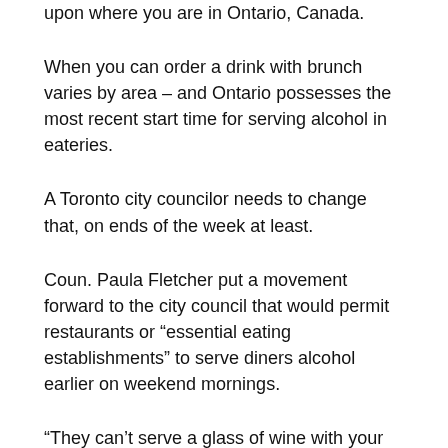upon where you are in Ontario, Canada.
When you can order a drink with brunch varies by area – and Ontario possesses the most recent start time for serving alcohol in eateries.
A Toronto city councilor needs to change that, on ends of the week at least.
Coun. Paula Fletcher put a movement forward to the city council that would permit restaurants or “essential eating establishments” to serve diners alcohol earlier on weekend mornings.
“They can’t serve a glass of wine with your omelet – or whatever you’re having for breakfast – until 11 o’clock,” Fletcher said.